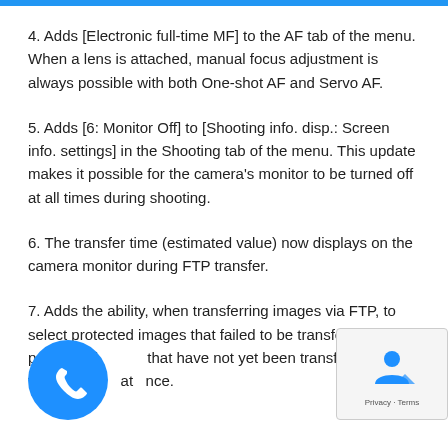4. Adds [Electronic full-time MF] to the AF tab of the menu. When a lens is attached, manual focus adjustment is always possible with both One-shot AF and Servo AF.
5. Adds [6: Monitor Off] to [Shooting info. disp.: Screen info. settings] in the Shooting tab of the menu. This update makes it possible for the camera's monitor to be turned off at all times during shooting.
6. The transfer time (estimated value) now displays on the camera monitor during FTP transfer.
7. Adds the ability, when transferring images via FTP, to select protected images that failed to be transferred and protected images that have not yet been transferred and transfer at once.